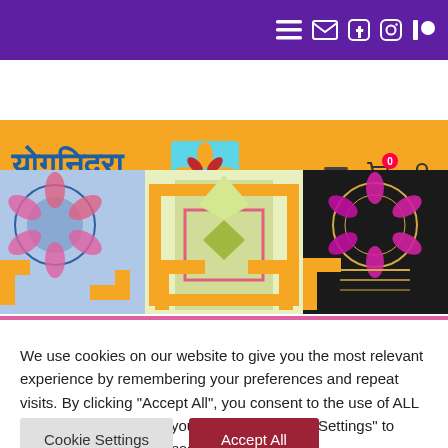[Figure (screenshot): Purple navigation bar with hamburger menu icon and social media icons (email, facebook, instagram, patreon)]
[Figure (logo): Yoga Nidra Network logo with Hindi text and colorful mandala emblem on orange background]
[Figure (photo): Hero image showing colorful mandala/yantra artworks on orange and black backgrounds]
We use cookies on our website to give you the most relevant experience by remembering your preferences and repeat visits. By clicking “Accept All”, you consent to the use of ALL the cookies. However, you may visit "Cookie Settings" to provide a controlled consent.
Cookie Settings
Accept All